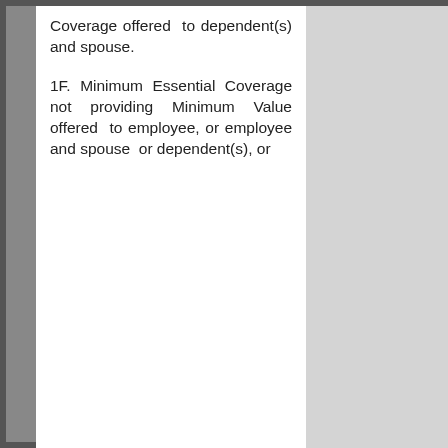Coverage offered to dependent(s) and spouse.
1F. Minimum Essential Coverage not providing Minimum Value offered to employee, or employee and spouse or dependent(s), or